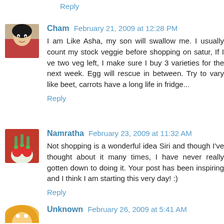Reply
Cham  February 21, 2009 at 12:28 PM
I am Like Asha, my son will swallow me. I usually count my stock veggie before shopping on satur, If I ve two veg left, I make sure I buy 3 varieties for the next week. Egg will rescue in between. Try to vary like beet, carrots have a long life in fridge...
Reply
Namratha  February 23, 2009 at 11:32 AM
Not shopping is a wonderful idea Siri and though I've thought about it many times, I have never really gotten down to doing it. Your post has been inspiring and I think I am starting this very day! :)
Reply
Unknown  February 26, 2009 at 5:41 AM